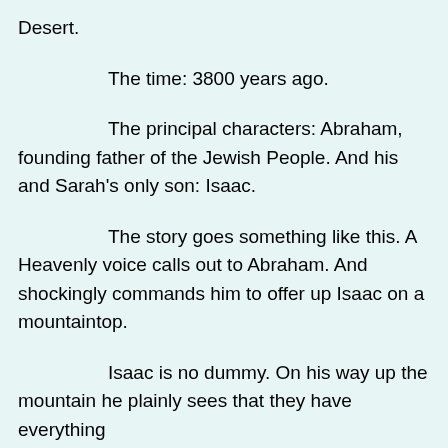Desert.
The time: 3800 years ago.
The principal characters: Abraham, founding father of the Jewish People.  And his and Sarah's only son: Isaac.
The story goes something like this.  A Heavenly voice calls out to Abraham.  And shockingly commands him to offer up Isaac on a mountaintop.
Isaac is no dummy.  On his way up the mountain he plainly sees that they have everything